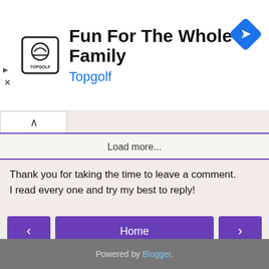[Figure (screenshot): Topgolf advertisement banner with logo, title 'Fun For The Whole Family', subtitle 'Topgolf', and a blue navigation diamond icon]
Load more...
Thank you for taking the time to leave a comment.
I read every one and try my best to reply!
Home
View web version
Powered by Blogger.